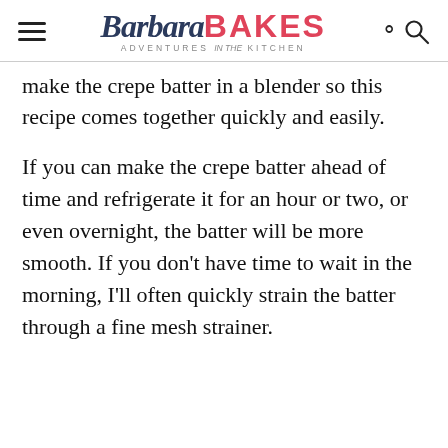Barbara BAKES — Adventures in the Kitchen
make the crepe batter in a blender so this recipe comes together quickly and easily.
If you can make the crepe batter ahead of time and refrigerate it for an hour or two, or even overnight, the batter will be more smooth. If you don't have time to wait in the morning, I'll often quickly strain the batter through a fine mesh strainer.